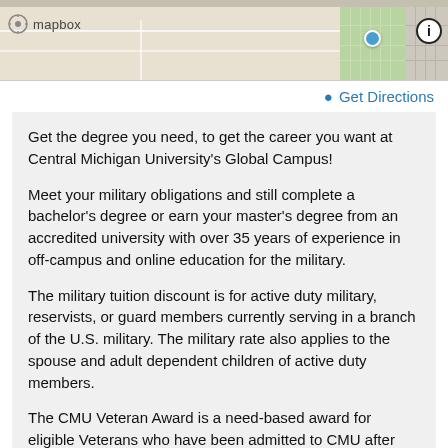[Figure (map): Mapbox map with blue dot marker showing campus location, with info button on top right]
Get Directions
Get the degree you need, to get the career you want at Central Michigan University's Global Campus!
Meet your military obligations and still complete a bachelor's degree or earn your master's degree from an accredited university with over 35 years of experience in off-campus and online education for the military.
The military tuition discount is for active duty military, reservists, or guard members currently serving in a branch of the U.S. military. The military rate also applies to the spouse and adult dependent children of active duty members.
The CMU Veteran Award is a need-based award for eligible Veterans who have been admitted to CMU after August 16, 2016. Consideration for the Central Michigan University Veteran Award is available to honorably discharged veterans from the U.S. Military Service who have regular admission as an undergraduate or graduate in one of CMU's on-campus, off-campus or online